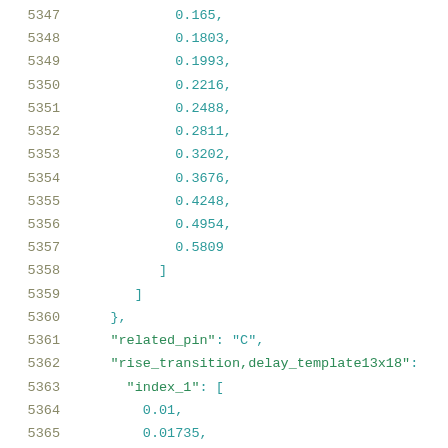5347    0.165,
5348    0.1803,
5349    0.1993,
5350    0.2216,
5351    0.2488,
5352    0.2811,
5353    0.3202,
5354    0.3676,
5355    0.4248,
5356    0.4954,
5357    0.5809
5358         ]
5359       ]
5360    },
5361    "related_pin": "C",
5362    "rise_transition,delay_template13x18":
5363       "index_1": [
5364          0.01,
5365          0.01735,
5366          0.02602,
5367          0.03903,